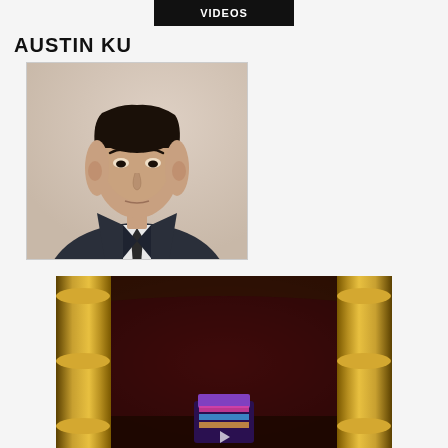VIDEOS
AUSTIN KU
[Figure (photo): Headshot portrait of Austin Ku, an Asian man in a dark suit and tie against a light background]
[Figure (screenshot): Video thumbnail showing a stage with ornate golden pillars, red curtain, and a colorful object at center bottom]